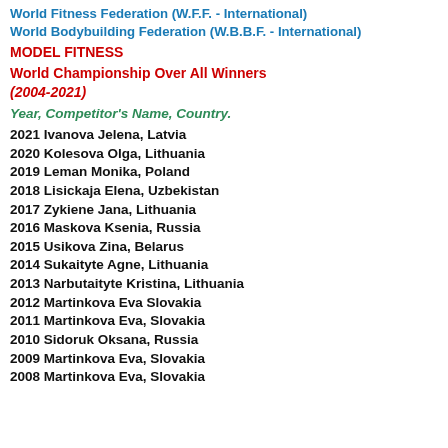World Fitness Federation (W.F.F. - International)
World Bodybuilding Federation (W.B.B.F. - International)
MODEL FITNESS
World Championship Over All Winners
(2004-2021)
Year, Competitor's Name, Country.
2021 Ivanova Jelena, Latvia
2020 Kolesova Olga, Lithuania
2019 Leman Monika, Poland
2018 Lisickaja Elena, Uzbekistan
2017 Zykiene Jana, Lithuania
2016 Maskova Ksenia, Russia
2015 Usikova Zina, Belarus
2014 Sukaityte Agne, Lithuania
2013 Narbutaityte Kristina, Lithuania
2012 Martinkova Eva Slovakia
2011 Martinkova Eva, Slovakia
2010 Sidoruk Oksana, Russia
2009 Martinkova Eva, Slovakia
2008 Martinkova Eva, Slovakia